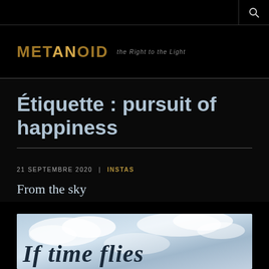METANOID the Right to the Light
Étiquette : pursuit of happiness
21 SEPTEMBRE 2020 | INSTAS
From the sky
[Figure (photo): Sky image with clouds and bold italic serif text reading 'If time flies']